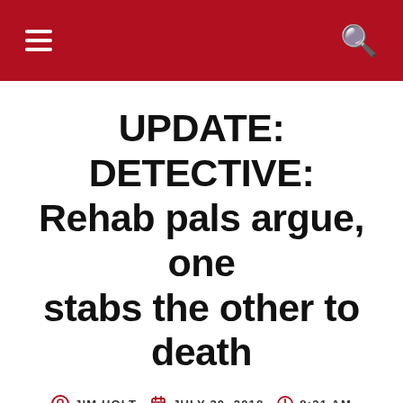Navigation header with hamburger menu and search icon
UPDATE: DETECTIVE: Rehab pals argue, one stabs the other to death
JIM HOLT  JULY 30, 2018  8:21 AM